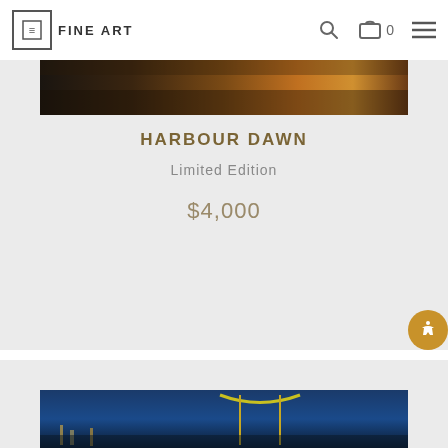FINE ART
[Figure (photo): Partial view of a harbour at dusk/dawn with warm amber city lights reflected on water]
HARBOUR DAWN
Limited Edition
$4,000
[Figure (photo): Sydney Harbour Bridge at night with blue twilight sky and city lights reflecting on water]